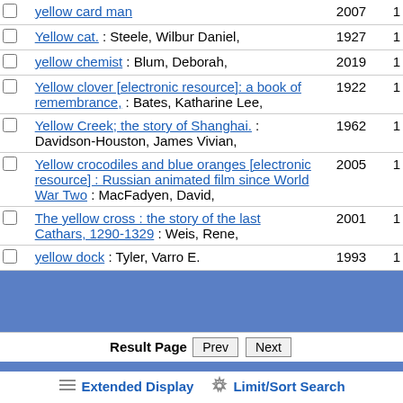|  | Title/Author | Year | Count |
| --- | --- | --- | --- |
| ☐ | yellow card man | 2007 | 1 |
| ☐ | Yellow cat. : Steele, Wilbur Daniel, | 1927 | 1 |
| ☐ | yellow chemist : Blum, Deborah, | 2019 | 1 |
| ☐ | Yellow clover [electronic resource]: a book of remembrance, : Bates, Katharine Lee, | 1922 | 1 |
| ☐ | Yellow Creek; the story of Shanghai. : Davidson-Houston, James Vivian, | 1962 | 1 |
| ☐ | Yellow crocodiles and blue oranges [electronic resource] : Russian animated film since World War Two : MacFadyen, David, | 2005 | 1 |
| ☐ | The yellow cross : the story of the last Cathars, 1290-1329 : Weis, Rene, | 2001 | 1 |
| ☐ | yellow dock : Tyler, Varro E. | 1993 | 1 |
Result Page  Prev  Next
Extended Display  Limit/Sort Search